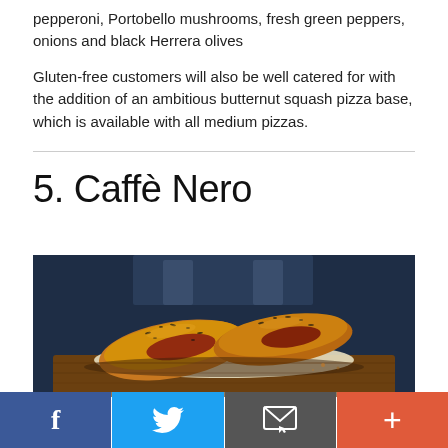pepperoni, Portobello mushrooms, fresh green peppers, onions and black Herrera olives
Gluten-free customers will also be well catered for with the addition of an ambitious butternut squash pizza base, which is available with all medium pizzas.
5. Caffè Nero
[Figure (photo): Photo of baked pastry rolls (sausage rolls) with seeds on top, filled with a dark meat filling, placed on parchment paper on a rustic wooden board, with a dark blue background.]
Social sharing bar: Facebook, Twitter, Email, More